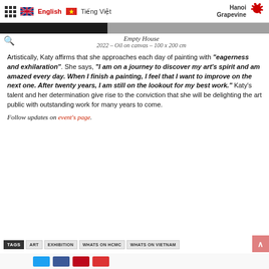English  Tiếng Việt   Hanoi Grapevine
[Figure (photo): Partial image strip showing a dark painting in progress - Empty House artwork]
Empty House
2022 – Oil on canvas – 100 x 200 cm
Artistically, Katy affirms that she approaches each day of painting with "eagerness and exhilaration". She says, "I am on a journey to discover my art's spirit and am amazed every day. When I finish a painting, I feel that I want to improve on the next one. After twenty years, I am still on the lookout for my best work." Katy's talent and her determination give rise to the conviction that she will be delighting the art public with outstanding work for many years to come.
Follow updates on event's page.
TAGS  ART  EXHIBITION  WHATS ON HCMC  WHATS ON VIETNAM